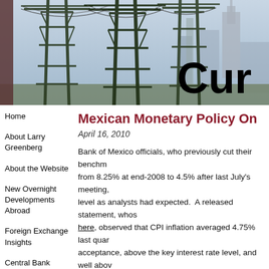[Figure (photo): Header banner image showing electrical transmission towers/pylons against a city skyline background with partial large bold text 'Cur' visible on the right side]
Home
About Larry Greenberg
About the Website
New Overnight Developments Abroad
Foreign Exchange Insights
Central Bank Watch
Mexican Monetary Policy On
April 16, 2010
Bank of Mexico officials, who previously cut their benchmark from 8.25% at end-2008 to 4.5% after last July's meeting, level as analysts had expected.  A released statement, whose here, observed that CPI inflation averaged 4.75% last quarter acceptance, above the key interest rate level, and well above CPI inflation is projected to decelerate because the economy demand pressures are not observed, wage settlements remain above 3%, has not risen.  While exports of manufactured goods United States, personal consumption is weak, and investment